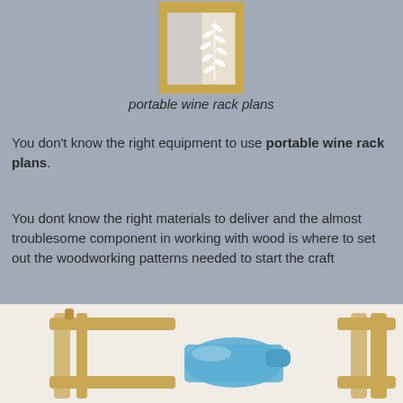[Figure (photo): Photo of a portable wine rack with leaf design on a light wooden frame]
portable wine rack plans
You don't know the right equipment to use portable wine rack plans.
You dont know the right materials to deliver and the almost troublesome component in working with wood is where to set out the woodworking patterns needed to start the craft
[Figure (photo): Photo of a wooden wine rack holding a blue glass bottle]